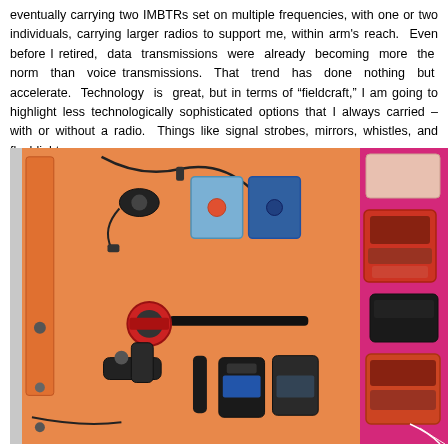eventually carrying two IMBTRs set on multiple frequencies, with one or two individuals, carrying larger radios to support me, within arm's reach. Even before I retired, data transmissions were already becoming more the norm than voice transmissions. That trend has done nothing but accelerate. Technology is great, but in terms of "fieldcraft," I am going to highlight less technologically sophisticated options that I always carried – with or without a radio. Things like signal strobes, mirrors, whistles, and flashlights.
[Figure (photo): Flat lay photo of signal and survival equipment including signal panels (orange and pink/magenta), strobes, mirrors, whistles, flashlights, and other signaling devices arranged on orange and pink fabric backgrounds.]